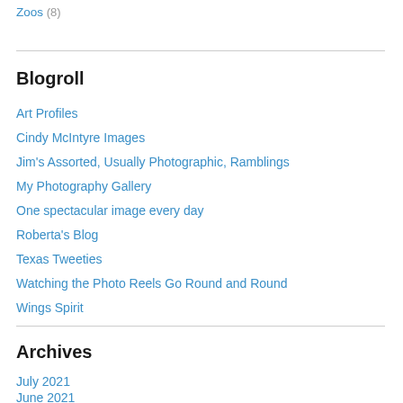Zoos (8)
Blogroll
Art Profiles
Cindy McIntyre Images
Jim's Assorted, Usually Photographic, Ramblings
My Photography Gallery
One spectacular image every day
Roberta's Blog
Texas Tweeties
Watching the Photo Reels Go Round and Round
Wings Spirit
Archives
July 2021
June 2021